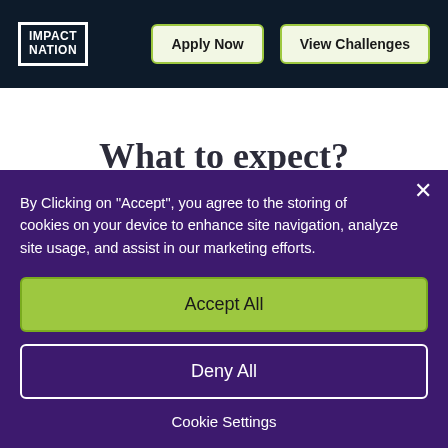[Figure (logo): Impact Nation logo — white text in bordered box on dark navy background]
Apply Now
View Challenges
What to expect?
Making your business more sustainable is hard
By Clicking on "Accept", you agree to the storing of cookies on your device to enhance site navigation, analyze site usage, and assist in our marketing efforts.
Accept All
Deny All
Cookie Settings